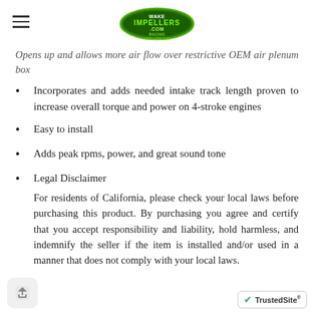Impellers.com logo header
Opens up and allows more air flow over restrictive OEM air plenum box
Incorporates and adds needed intake track length proven to increase overall torque and power on 4-stroke engines
Easy to install
Adds peak rpms, power, and great sound tone
Legal Disclaimer
For residents of California, please check your local laws before purchasing this product. By purchasing you agree and certify that you accept responsibility and liability, hold harmless, and indemnify the seller if the item is installed and/or used in a manner that does not comply with your local laws.
TrustedSite